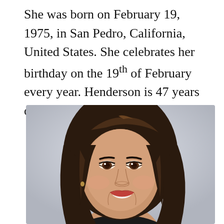She was born on February 19, 1975, in San Pedro, California, United States. She celebrates her birthday on the 19th of February every year. Henderson is 47 years old.
[Figure (photo): Professional headshot of a woman with long dark brown hair, smiling, wearing a dark outfit, against a light gray background.]